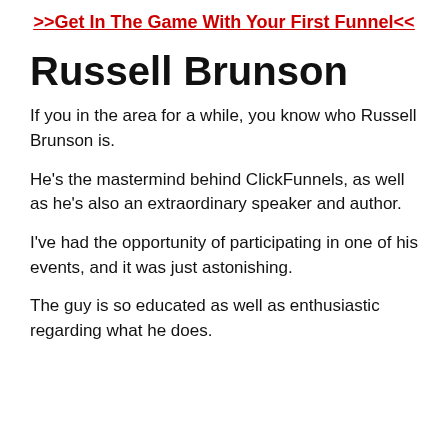>>Get In The Game With Your First Funnel<<
Russell Brunson
If you in the area for a while, you know who Russell Brunson is.
He's the mastermind behind ClickFunnels, as well as he's also an extraordinary speaker and author.
I've had the opportunity of participating in one of his events, and it was just astonishing.
The guy is so educated as well as enthusiastic regarding what he does.